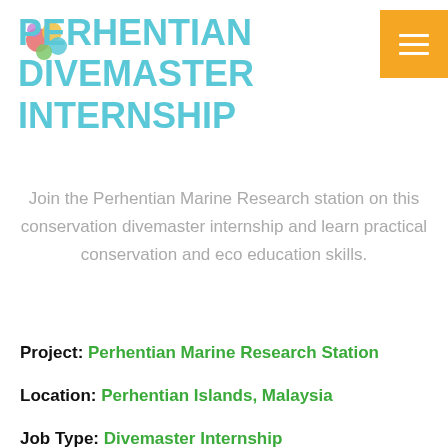PERHENTIAN DIVEMASTER INTERNSHIP
Join the Perhentian Marine Research station on this conservation divemaster internship and learn practical conservation and eco education skills.
Project: Perhentian Marine Research Station
Location: Perhentian Islands, Malaysia
Job Type: Divemaster Internship